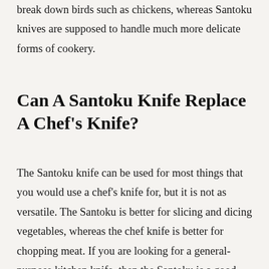break down birds such as chickens, whereas Santoku knives are supposed to handle much more delicate forms of cookery.
Can A Santoku Knife Replace A Chef's Knife?
The Santoku knife can be used for most things that you would use a chef's knife for, but it is not as versatile. The Santoku is better for slicing and dicing vegetables, whereas the chef knife is better for chopping meat. If you are looking for a general-purpose kitchen knife, then the Santoku is a good